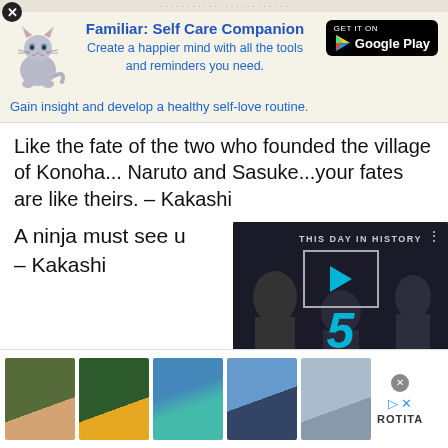[truncated top bar text]
[Figure (screenshot): Advertisement banner: Familiar: Self Care Companion app ad with cat illustration, Google Play button. Text: 'Create a happier mind with all the tools and reminders you need.' and 'Gain insight and develop a healthy self-love routine.']
Like the fate of the two who founded the village of Konoha... Naruto and Sasuke...your fates are like theirs. – Kakashi
A ninja must see u – Kakashi
[Figure (screenshot): Video overlay showing THIS DAY IN HISTORY with number 5, AUGUST, play button, muted audio controls and progress bar]
I'm telling you this You think you get actually getting it. Get it? – Kakashi
[Figure (screenshot): Bottom ad strip from ROTITA showing 5 clothing item thumbnails (jackets, swimwear, tops) with close button and ROTITA logo]